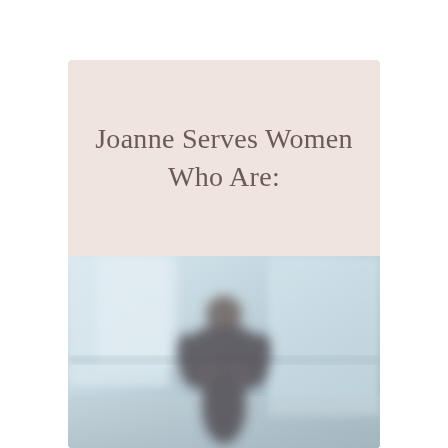Joanne Serves Women Who Are:
[Figure (photo): A blurred photo of a woman standing in a light-filled interior space, wearing dark clothing against a soft blue-gray background.]